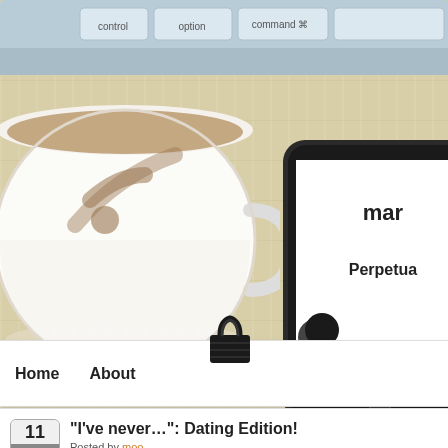[Figure (screenshot): Website screenshot showing a wooden desk background with a keyboard at top, a white coffee mug with RSS feed icon in the coffee, an iPhone/smartphone on the right partially showing 'mar' and 'Perpetua' text, a binder clip, a white navigation bar with Home and About links, and a blog post card at bottom showing date 11 Nov with title 'I've never…': Dating Edition! Posted by moo, Published in bleach, brain crumbs, Define Categorization, friends...]
Home
About
“I’ve never…”: Dating Edition!
Posted by moo
Published in bleach, brain crumbs, Define Categorization, friends...